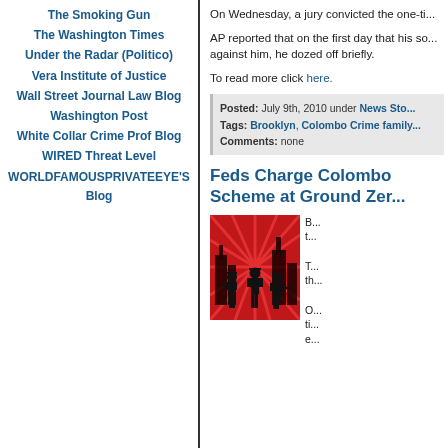The Smoking Gun
The Washington Times
Under the Radar (Politico)
Vera Institute of Justice
Wall Street Journal Law Blog
Washington Post
White Collar Crime Prof Blog
WIRED Threat Level
WORLDFAMOUSPRIVATEEYE'S Blog
On Wednesday, a jury convicted the one-ti...
AP reported that on the first day that his so... against him, he dozed off briefly.
To read more click here.
Posted: July 9th, 2010 under News Sto... Tags: Brooklyn, Colombo Crime family... Comments: none
Feds Charge Colombo Scheme at Ground Zer...
[Figure (illustration): Silhouette illustration of three gangster figures in hats against a red sunburst background with city skyline]
B... t... T... th... O... ti... e...